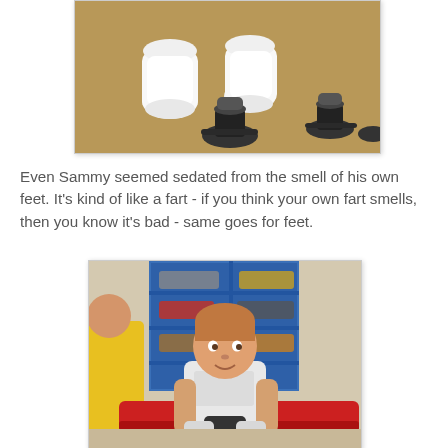[Figure (photo): Top-down view of feet in white socks standing on brown carpet with dark shoe display stands nearby]
Even Sammy seemed sedated from the smell of his own feet. It's kind of like a fart - if you think your own fart smells, then you know it's bad - same goes for feet.
[Figure (photo): A young boy with reddish-brown hair sitting on a red bench in a shoe store, wearing a white t-shirt and holding something, with a person in a yellow shirt beside him and shoe displays in the background]